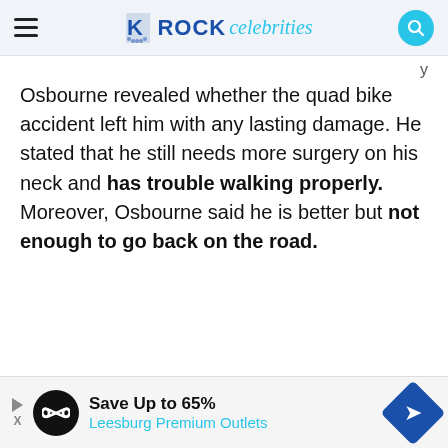ROCK celebrities
Osbourne revealed whether the quad bike accident left him with any lasting damage. He stated that he still needs more surgery on his neck and has trouble walking properly. Moreover, Osbourne said he is better but not enough to go back on the road.
[Figure (other): Advertisement banner: Save Up to 65% Leesburg Premium Outlets]